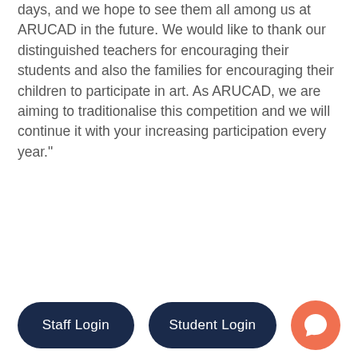days, and we hope to see them all among us at ARUCAD in the future. We would like to thank our distinguished teachers for encouraging their students and also the families for encouraging their children to participate in art. As ARUCAD, we are aiming to traditionalise this competition and we will continue it with your increasing participation every year."
Staff Login | Student Login